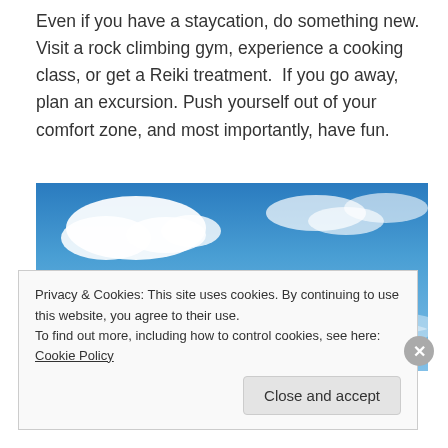Even if you have a staycation, do something new. Visit a rock climbing gym, experience a cooking class, or get a Reiki treatment.  If you go away, plan an excursion. Push yourself out of your comfort zone, and most importantly, have fun.
[Figure (photo): Blue sky with white clouds, wide angle photo]
Privacy & Cookies: This site uses cookies. By continuing to use this website, you agree to their use.
To find out more, including how to control cookies, see here: Cookie Policy
Close and accept